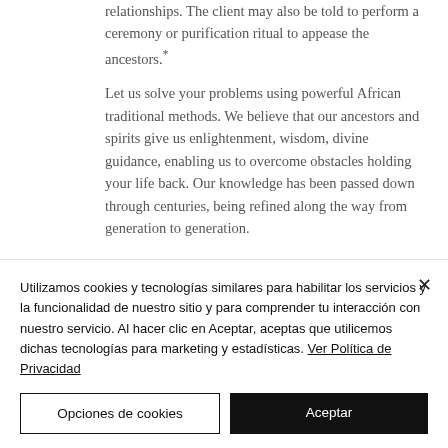relationships. The client may also be told to perform a ceremony or purification ritual to appease the ancestors.*
Let us solve your problems using powerful African traditional methods. We believe that our ancestors and spirits give us enlightenment, wisdom, divine guidance, enabling us to overcome obstacles holding your life back. Our knowledge has been passed down through centuries, being refined along the way from generation to generation.
Utilizamos cookies y tecnologías similares para habilitar los servicios y la funcionalidad de nuestro sitio y para comprender tu interacción con nuestro servicio. Al hacer clic en Aceptar, aceptas que utilicemos dichas tecnologías para marketing y estadísticas. Ver Política de Privacidad
Opciones de cookies
Aceptar